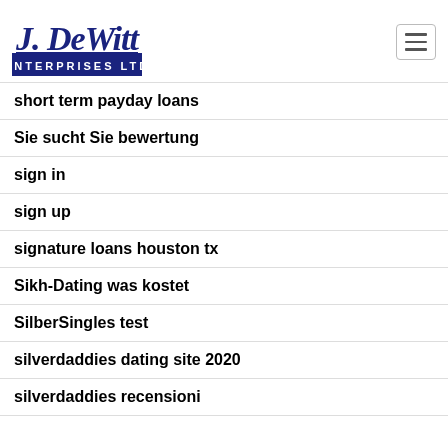J. DeWitt Enterprises Ltd
short term payday loans
Sie sucht Sie bewertung
sign in
sign up
signature loans houston tx
Sikh-Dating was kostet
SilberSingles test
silverdaddies dating site 2020
silverdaddies recensioni